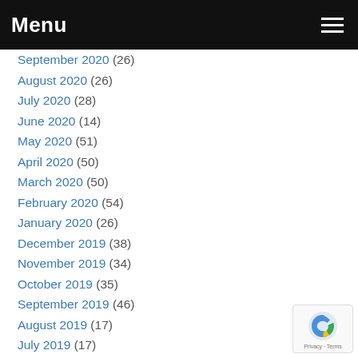Menu
September 2020 (26)
August 2020 (26)
July 2020 (28)
June 2020 (14)
May 2020 (51)
April 2020 (50)
March 2020 (50)
February 2020 (54)
January 2020 (26)
December 2019 (38)
November 2019 (34)
October 2019 (35)
September 2019 (46)
August 2019 (17)
July 2019 (17)
June 2019 (20)
May 2019 (39)
April 2019 (43)